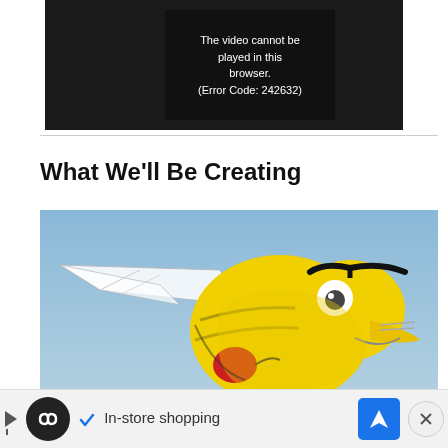[Figure (screenshot): Video player showing error message: 'The video cannot be played in this browser. (Error Code: 242632)' on a dark/black background.]
What We'll Be Creating
[Figure (illustration): Cartoon illustration of an angry bee/wasp character with yellow body, white wings, black eyebrows, and red boxing gloves, on a light blue background.]
[Figure (screenshot): Advertisement bar at the bottom showing a circular icon with an infinity symbol, a checkmark, the text 'In-store shopping', a blue navigation arrow icon, and an X close button.]